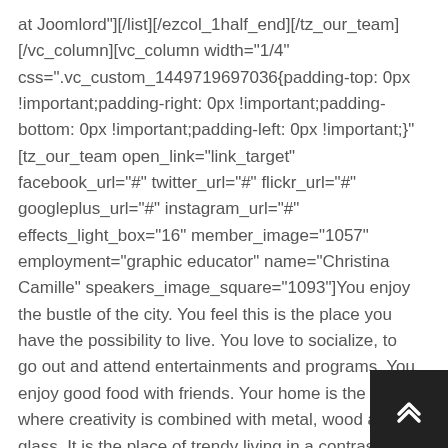at Joomlord"][/list][/ezcol_1half_end][/tz_our_team][/vc_column][vc_column width="1/4" css=".vc_custom_1449719697036{padding-top: 0px !important;padding-right: 0px !important;padding-bottom: 0px !important;padding-left: 0px !important;}"][tz_our_team open_link="link_target" facebook_url="#" twitter_url="#" flickr_url="#" googleplus_url="#" instagram_url="#" effects_light_box="16" member_image="1057" employment="graphic educator" name="Christina Camille" speakers_image_square="1093"]You enjoy the bustle of the city. You feel this is the place you have the possibility to live. You love to socialize, to go out and attend entertainments and programs. You enjoy good food with friends. Your home is the pl where creativity is combined with metal, wood an glass. It is the place of trendy living in a contrasty
[Figure (other): Back to top button - dark square button with upward chevron arrow]